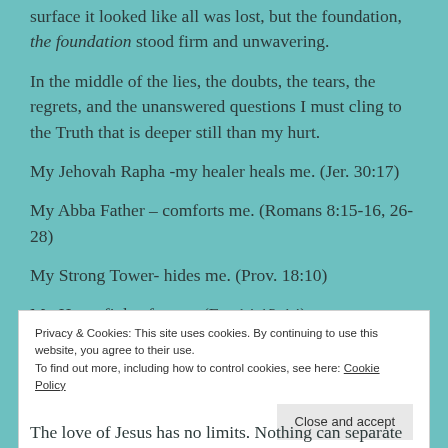surface it looked like all was lost, but the foundation, the foundation stood firm and unwavering.
In the middle of the lies, the doubts, the tears, the regrets, and the unanswered questions I must cling to the Truth that is deeper still than my hurt.
My Jehovah Rapha -my healer heals me. (Jer. 30:17)
My Abba Father – comforts me. (Romans 8:15-16, 26-28)
My Strong Tower- hides me. (Prov. 18:10)
My Hero- fights for me. (Ex. 14:13-14)
Privacy & Cookies: This site uses cookies. By continuing to use this website, you agree to their use.
To find out more, including how to control cookies, see here: Cookie Policy
Close and accept
The love of Jesus has no limits. Nothing can separate